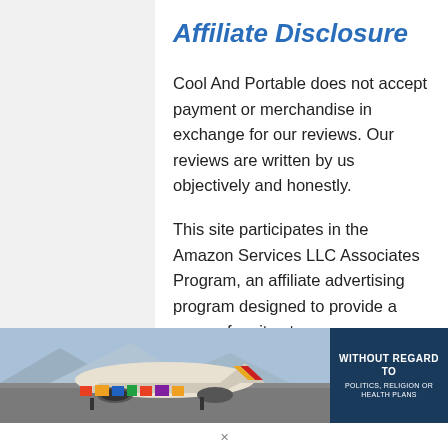Affiliate Disclosure
Cool And Portable does not accept payment or merchandise in exchange for our reviews. Our reviews are written by us objectively and honestly.
This site participates in the Amazon Services LLC Associates Program, an affiliate advertising program designed to provide a means for sites to
[Figure (photo): Advertisement banner showing a cargo airplane on a tarmac with colorful cargo, with a dark navy blue box on the right reading 'WITHOUT REGARD TO POLITICS, RELIGION OR HEALTH PLANS']